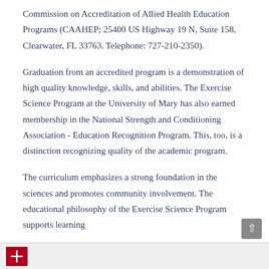Commission on Accreditation of Allied Health Education Programs (CAAHEP; 25400 US Highway 19 N, Suite 158, Clearwater, FL 33763. Telephone: 727-210-2350).
Graduation from an accredited program is a demonstration of high quality knowledge, skills, and abilities. The Exercise Science Program at the University of Mary has also earned membership in the National Strength and Conditioning Association - Education Recognition Program. This, too, is a distinction recognizing quality of the academic program.
The curriculum emphasizes a strong foundation in the sciences and promotes community involvement. The educational philosophy of the Exercise Science Program supports learning through...